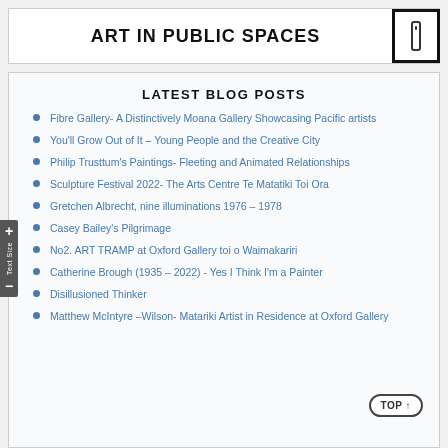ART IN PUBLIC SPACES
LATEST BLOG POSTS
Fibre Gallery- A Distinctively Moana Gallery Showcasing Pacific artists
You'll Grow Out of It – Young People and the Creative City
Philip Trusttum's Paintings- Fleeting and Animated Relationships
Sculpture Festival 2022- The Arts Centre Te Matatiki Toi Ora
Gretchen Albrecht, nine illuminations 1976 – 1978
Casey Bailey's Pilgrimage
No2. ART TRAMP at Oxford Gallery toi o Waimakariri
Catherine Brough (1935 – 2022) - Yes I Think I'm a Painter
Disillusioned Thinker
Matthew McIntyre –Wilson- Matariki Artist in Residence at Oxford Gallery